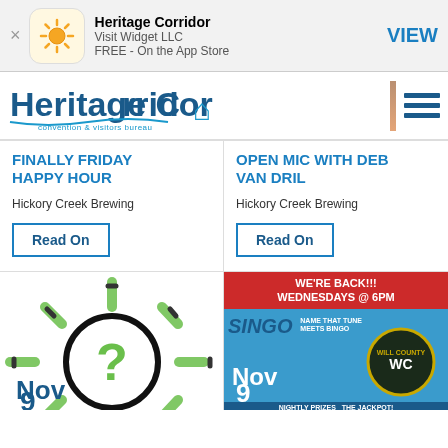[Figure (screenshot): App Store banner ad for Heritage Corridor app by Visit Widget LLC, FREE on the App Store, with a VIEW button]
[Figure (logo): Heritage Corridor convention & visitors bureau logo with Illinois state outline and hamburger menu]
FINALLY FRIDAY HAPPY HOUR
Hickory Creek Brewing
Read On
OPEN MIC WITH DEB VAN DRIL
Hickory Creek Brewing
Read On
[Figure (illustration): Green lightbulb with question mark illustration, Nov 9 date shown]
[Figure (illustration): Singo bingo event promotional image: WE'RE BACK!!! WEDNESDAYS @ 6PM, Nov 9, NIGHTLY PRIZES THE JACKPOT! Will County]